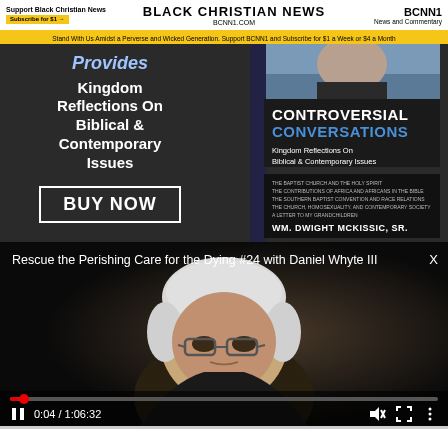Support Black Christian News | BLACK CHRISTIAN NEWS BCNN1.COM | BCNN1 News and Commentary
Stand With Us Amidst a Perverse and Wicked Generation. Support BCNN1 and Subscribe for $1 a Week or $4 a Month
[Figure (photo): Book advertisement for 'Controversial Conversations: Kingdom Reflections On Biblical & Contemporary Issues' by Wm. Dwight McKissic, Sr. with BUY NOW button]
[Figure (screenshot): Video player showing 'Rescue the Perishing Care for the Dying #24 with Daniel Whyte III', paused at 0:04 / 1:06:32, showing a man with grey hair and glasses]